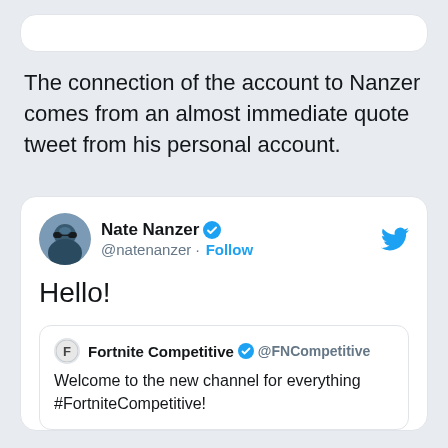The connection of the account to Nanzer comes from an almost immediate quote tweet from his personal account.
[Figure (screenshot): Tweet by Nate Nanzer (@natenanzer) with blue verified badge, saying 'Hello!' quoting a tweet from Fortnite Competitive (@FNCompetitive) which says 'Welcome to the new channel for everything #FortniteCompetitive!']